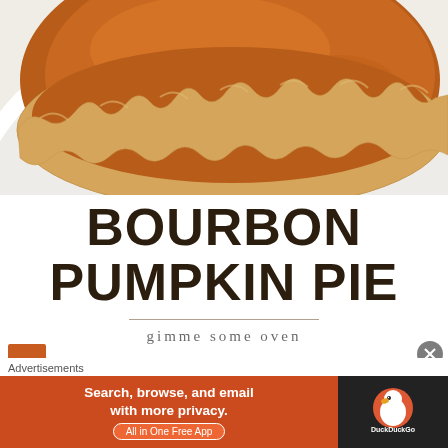[Figure (photo): Close-up photo of a bourbon pumpkin pie in a white ceramic pie dish, showing a golden-brown crimped crust edge and smooth orange pumpkin filling.]
BOURBON PUMPKIN PIE
gimme some oven
Advertisements
[Figure (screenshot): DuckDuckGo advertisement banner: orange background on left with text 'Search, browse, and email with more privacy. All in One Free App' and DuckDuckGo logo on dark right panel.]